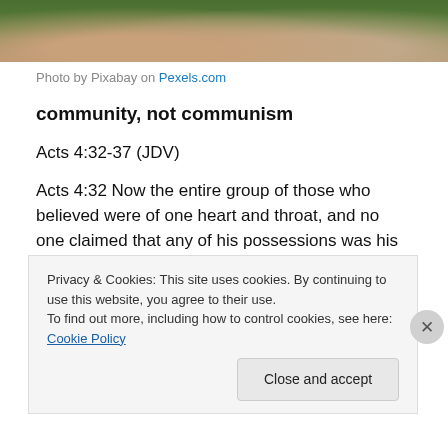[Figure (photo): Cropped photo showing hands against a grassy background, from Pixabay on Pexels.com]
Photo by Pixabay on Pexels.com
community, not communism
Acts 4:32-37 (JDV)
Acts 4:32 Now the entire group of those who believed were of one heart and throat, and no one claimed that any of his possessions was his own, but instead they held everything in common.
Acts 4:33 With great power the missionaries were giving
Privacy & Cookies: This site uses cookies. By continuing to use this website, you agree to their use.
To find out more, including how to control cookies, see here: Cookie Policy